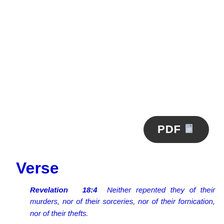[Figure (other): Dark rounded pill-shaped button with text 'PDF' and a document icon in white on dark background]
Verse
Revelation 18:4 Neither repented they of their murders, nor of their sorceries, nor of their fornication, nor of their thefts.